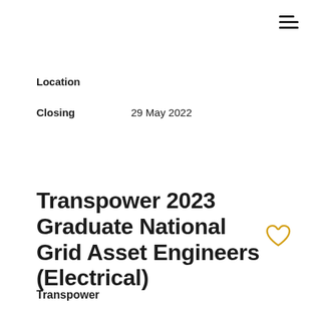[Figure (other): Hamburger menu icon (three horizontal lines) in top-right corner]
Location
Closing    29 May 2022
Transpower 2023 Graduate National Grid Asset Engineers (Electrical)
[Figure (other): Gold/yellow heart outline icon]
Transpower